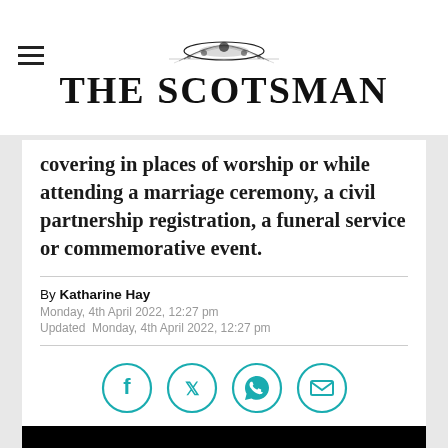THE SCOTSMAN
covering in places of worship or while attending a marriage ceremony, a civil partnership registration, a funeral service or commemorative event.
By Katharine Hay
Monday, 4th April 2022, 12:27 pm
Updated Monday, 4th April 2022, 12:27 pm
[Figure (other): Social share icons: Facebook, Twitter, WhatsApp, Email]
[Figure (photo): Black image/video placeholder]